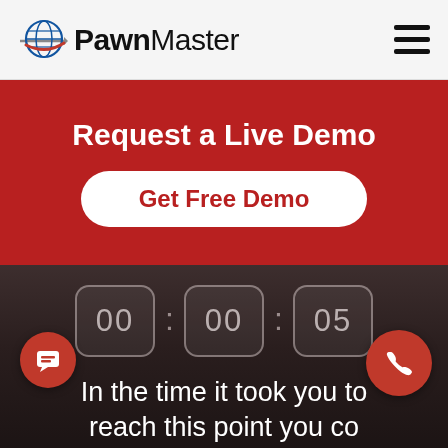PawnMaster
Request a Live Demo
Get Free Demo
[Figure (screenshot): Countdown timer showing 00 : 00 : 05 over a dark blurred background]
In the time it took you to reach this point you co...